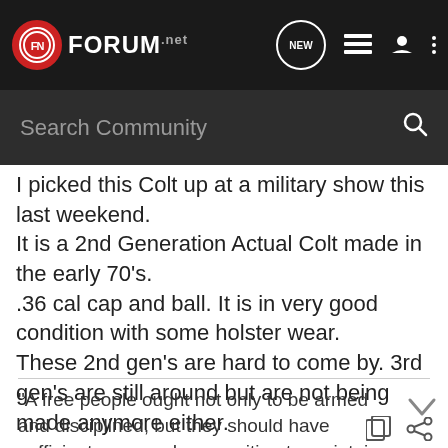FN FORUM.net — navigation bar with search
I picked this Colt up at a military show this last weekend. It is a 2nd Generation Actual Colt made in the early 70's. .36 cal cap and ball. It is in very good condition with some holster wear. These 2nd gen's are hard to come by. 3rd gen's are still around but are not being made anymore either.
"A free people ought not only to be armed and disciplined, but they should have sufficient arms and ammunition to maintain a status of